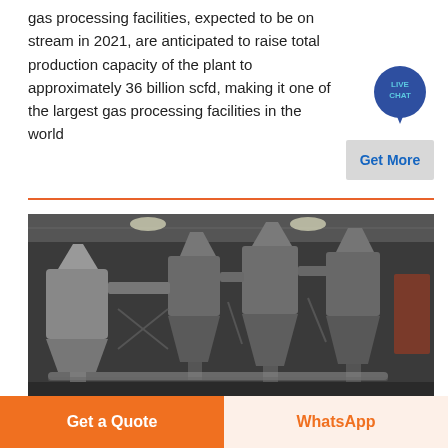the Hawiyah gas plant by more than 1 billion scfd. The new gas processing facilities, expected to be on stream in 2021, are anticipated to raise total production capacity of the plant to approximately 36 billion scfd, making it one of the largest gas processing facilities in the world
[Figure (other): Live Chat speech bubble icon — circular teal/blue bubble with 'LIVE CHAT' text]
[Figure (photo): Interior of an industrial gas processing facility showing large metal cyclone separators/hoppers and ducting inside a warehouse-style building with steel roof structure]